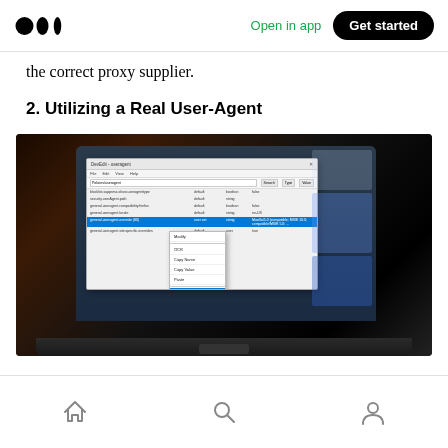Medium | Open in app | Get started
the correct proxy supplier.
2. Utilizing a Real User-Agent
[Figure (screenshot): Screenshot of a laptop showing a Windows settings/registry dialog with rows of settings. A row is highlighted in blue and a context menu is open showing options: Modify, OCR, Copy Name, Copy Value, Paste, Reset.]
Home | Search | Profile